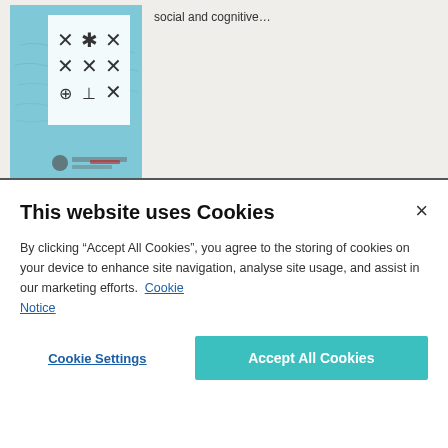[Figure (photo): Journal cover with light blue background showing geometric/symbolic patterns (asterisk-like symbols arranged in a grid) and small text/logos at bottom]
social and cognitive…
[Figure (photo): Antiquity journal cover showing a landscape/cave painting on left half and large red letter 'A' on cream right half]
Antiquity
Antiquity is a peer-reviewed journal of world archaeology. Founded by
This website uses Cookies
By clicking “Accept All Cookies”, you agree to the storing of cookies on your device to enhance site navigation, analyse site usage, and assist in our marketing efforts.  Cookie Notice
Cookie Settings
Accept All Cookies